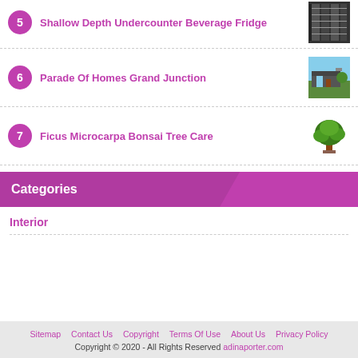5 Shallow Depth Undercounter Beverage Fridge
6 Parade Of Homes Grand Junction
7 Ficus Microcarpa Bonsai Tree Care
Categories
Interior
Sitemap | Contact Us | Copyright | Terms Of Use | About Us | Privacy Policy
Copyright © 2020 - All Rights Reserved adinaporter.com